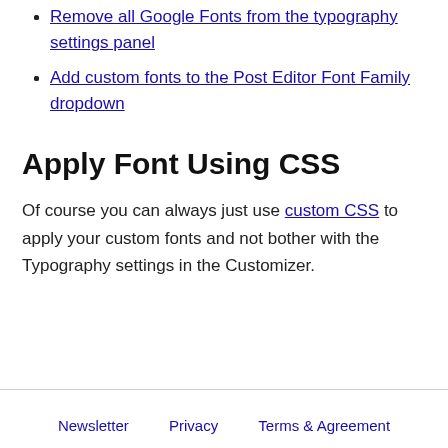Remove all Google Fonts from the typography settings panel
Add custom fonts to the Post Editor Font Family dropdown
Apply Font Using CSS
Of course you can always just use custom CSS to apply your custom fonts and not bother with the Typography settings in the Customizer.
Newsletter   Privacy   Terms & Agreement